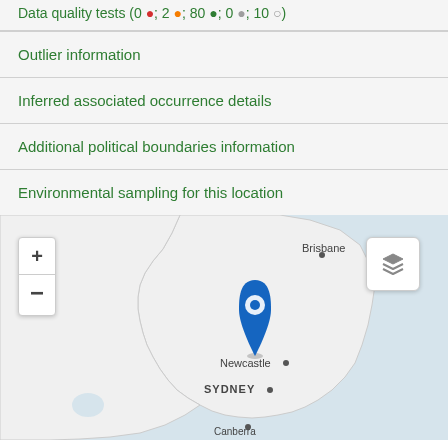Outlier information
Inferred associated occurrence details
Additional political boundaries information
Environmental sampling for this location
[Figure (map): Interactive map showing eastern Australia (Queensland, New South Wales) with a blue location pin marker placed near the Hunter Valley region, north of Sydney. Cities labeled include Brisbane, Newcastle, Sydney, and Canberra. Map has zoom controls (+/-) on the left and a layer toggle button on the right.]